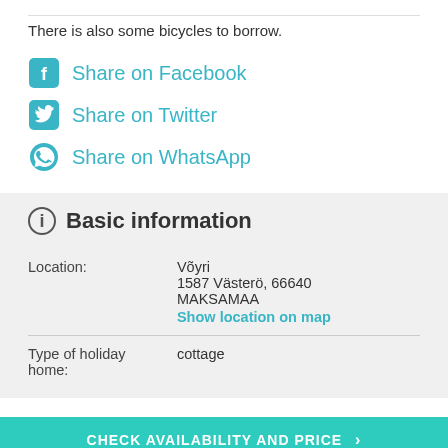There is also some bicycles to borrow.
Share on Facebook
Share on Twitter
Share on WhatsApp
Basic information
|  |  |
| --- | --- |
| Location: | Võyri
1587 Västerö, 66640
MAKSAMAA
Show location on map |
| Type of holiday home: | cottage |
CHECK AVAILABILITY AND PRICE >